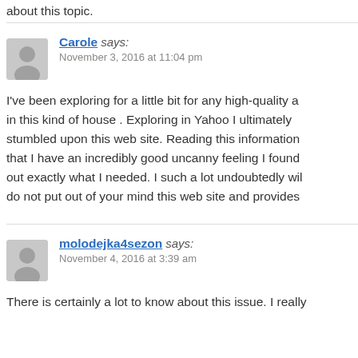about this topic.
Carole says:
November 3, 2016 at 11:04 pm

I've been exploring for a little bit for any high-quality a in this kind of house . Exploring in Yahoo I ultimately stumbled upon this web site. Reading this information that I have an incredibly good uncanny feeling I found out exactly what I needed. I such a lot undoubtedly wil do not put out of your mind this web site and provides
molodejka4sezon says:
November 4, 2016 at 3:39 am

There is certainly a lot to know about this issue. I really